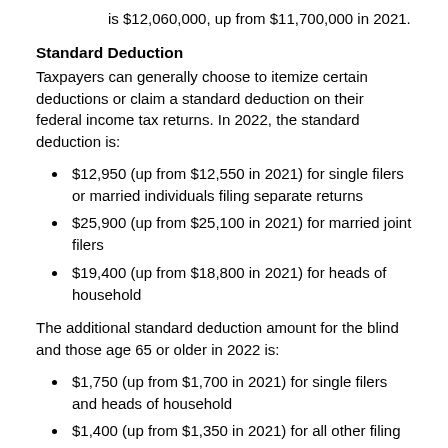is $12,060,000, up from $11,700,000 in 2021.
Standard Deduction
Taxpayers can generally choose to itemize certain deductions or claim a standard deduction on their federal income tax returns. In 2022, the standard deduction is:
$12,950 (up from $12,550 in 2021) for single filers or married individuals filing separate returns
$25,900 (up from $25,100 in 2021) for married joint filers
$19,400 (up from $18,800 in 2021) for heads of household
The additional standard deduction amount for the blind and those age 65 or older in 2022 is:
$1,750 (up from $1,700 in 2021) for single filers and heads of household
$1,400 (up from $1,350 in 2021) for all other filing statuses